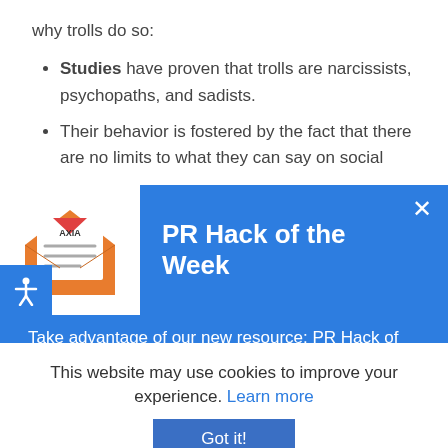why trolls do so:
Studies have proven that trolls are narcissists, psychopaths, and sadists.
Their behavior is fostered by the fact that there are no limits to what they can say on social
PR Hack of the Week
Take advantage of our new resource: PR Hack of the Week.
Each week, we'll deliver a quick and free tip about news, social, and web media.
This website may use cookies to improve your experience. Learn more
Got it!